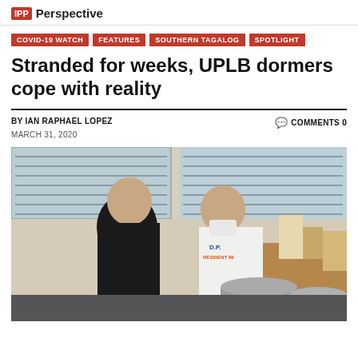IPP Perspective
COVID-19 WATCH
FEATURES
SOUTHERN TAGALOG
SPOTLIGHT
Stranded for weeks, UPLB dormers cope with reality
BY IAN RAPHAEL LOPEZ
COMMENTS 0
MARCH 31, 2020
[Figure (photo): Two male students wearing masks cooking in what appears to be a dormitory kitchen area with large pots, windows with louvers in the background, and supplies on a table.]